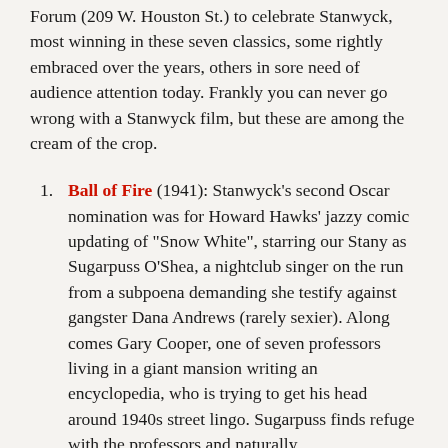Forum (209 W. Houston St.) to celebrate Stanwyck, most winning in these seven classics, some rightly embraced over the years, others in sore need of audience attention today. Frankly you can never go wrong with a Stanwyck film, but these are among the cream of the crop.
Ball of Fire (1941): Stanwyck's second Oscar nomination was for Howard Hawks' jazzy comic updating of "Snow White", starring our Stany as Sugarpuss O'Shea, a nightclub singer on the run from a subpoena demanding she testify against gangster Dana Andrews (rarely sexier). Along comes Gary Cooper, one of seven professors living in a giant mansion writing an encyclopedia, who is trying to get his head around 1940s street lingo. Sugarpuss finds refuge with the professors and naturally